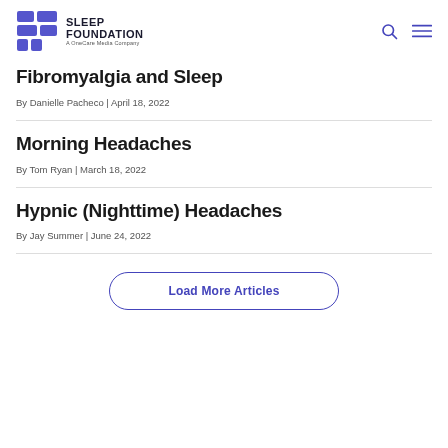Sleep Foundation — A OneCare Media Company
Fibromyalgia and Sleep
By Danielle Pacheco | April 18, 2022
Morning Headaches
By Tom Ryan | March 18, 2022
Hypnic (Nighttime) Headaches
By Jay Summer | June 24, 2022
Load More Articles